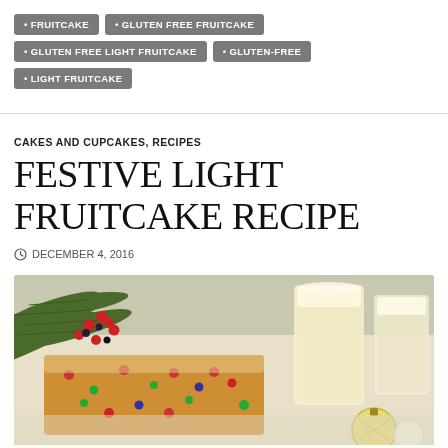FRUITCAKE
GLUTEN FREE FRUITCAKE
GLUTEN FREE LIGHT FRUITCAKE
GLUTEN-FREE
LIGHT FRUITCAKE
CAKES AND CUPCAKES, RECIPES
FESTIVE LIGHT FRUITCAKE RECIPE
DECEMBER 4, 2016
[Figure (photo): A festive fruitcake with red berries and pine branches, served with glasses of eggnog or cream, and holiday ornaments in the background.]